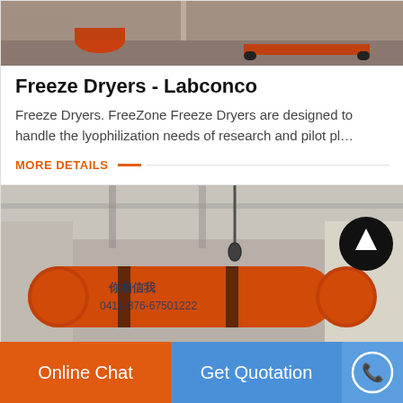[Figure (photo): Industrial equipment/machinery in a warehouse setting, viewed from above]
Freeze Dryers - Labconco
Freeze Dryers. FreeZone Freeze Dryers are designed to handle the lyophilization needs of research and pilot pl…
MORE DETAILS
[Figure (photo): Large orange rotary drum dryer in an industrial warehouse with overhead crane]
Online Chat
Get Quotation